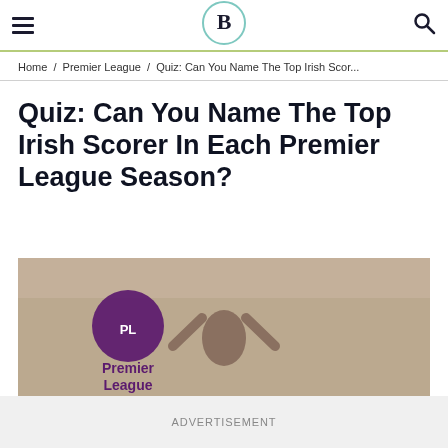≡ [Logo] 🔍
Home / Premier League / Quiz: Can You Name The Top Irish Scor...
Quiz: Can You Name The Top Irish Scorer In Each Premier League Season?
[Figure (photo): Photo of a footballer with arms raised, with Premier League logo overlay]
ADVERTISEMENT